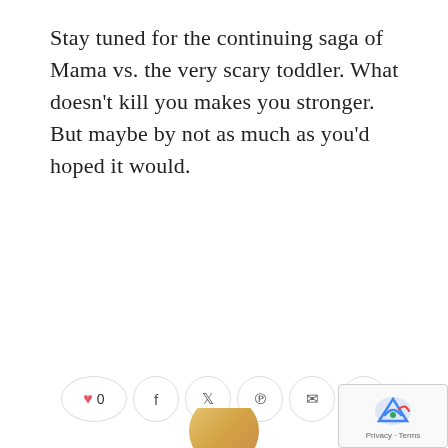Stay tuned for the continuing saga of Mama vs. the very scary toddler. What doesn't kill you makes you stronger. But maybe by not as much as you'd hoped it would.
CHRIS ROCK
FIXING CHAIR
LOSER MOMMY
MAMA ROCK'S RULES
NO CRY DISCIPLINE METHOD
PARENTING
RAISING FAIR FIONA
TODDLERHOOD
[Figure (other): Social sharing buttons row: heart with count 0, Facebook, Twitter, Pinterest, email, LinkedIn icons]
[Figure (other): reCAPTCHA widget bottom right, Privacy - Terms label]
[Figure (photo): Partial avatar/profile photo at bottom center]